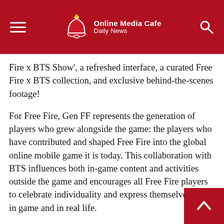Online Media Cafe – Daily News
Fire x BTS Show', a refreshed interface, a curated Free Fire x BTS collection, and exclusive behind-the-scenes footage!
For Free Fire, Gen FF represents the generation of players who grew alongside the game: the players who have contributed and shaped Free Fire into the global online mobile game it is today. This collaboration with BTS influences both in-game content and activities outside the game and encourages all Free Fire players to celebrate individuality and express themselves, both in game and in real life.
Catch a glimpse of what the BTS members have to say about the collaboration here. They reference